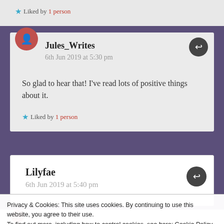Liked by 1 person
Jules_Writes
6th Jun 2019 at 5:30 pm
So glad to hear that! I've read lots of positive things about it.
Liked by 1 person
Lilyfae
6th Jun 2019 at 5:40 pm
Privacy & Cookies: This site uses cookies. By continuing to use this website, you agree to their use. To find out more, including how to control cookies, see here: Cookie Policy
Close and accept